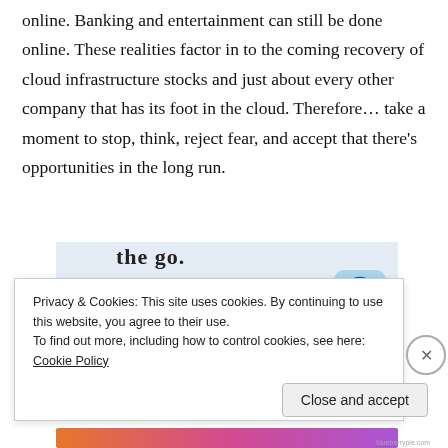online. Banking and entertainment can still be done online. These realities factor in to the coming recovery of cloud infrastructure stocks and just about every other company that has its foot in the cloud. Therefore… take a moment to stop, think, reject fear, and accept that there's opportunities in the long run.
[Figure (screenshot): Partial app advertisement banner with text 'the go.' and 'GET THE APP' in blue uppercase, with a WordPress logo icon on a light blue rounded square background.]
Privacy & Cookies: This site uses cookies. By continuing to use this website, you agree to their use.
To find out more, including how to control cookies, see here: Cookie Policy
Close and accept